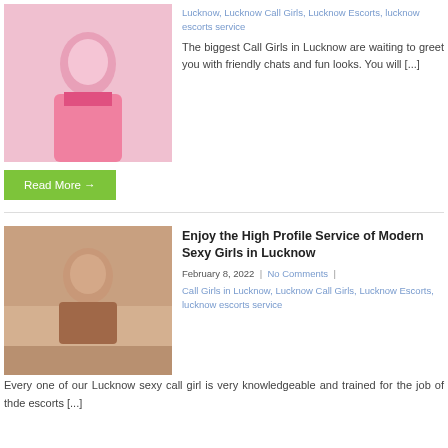[Figure (photo): Woman in pink top posing outdoors]
Lucknow, Lucknow Call Girls, Lucknow Escorts, lucknow escorts service
The biggest Call Girls in Lucknow are waiting to greet you with friendly chats and fun looks. You will [...]
Read More →
[Figure (photo): Young woman posing indoors in casual attire]
Enjoy the High Profile Service of Modern Sexy Girls in Lucknow
February 8, 2022 | No Comments | Call Girls in Lucknow, Lucknow Call Girls, Lucknow Escorts, lucknow escorts service
Every one of our Lucknow sexy call girl is very knowledgeable and trained for the job of thde escorts [...]